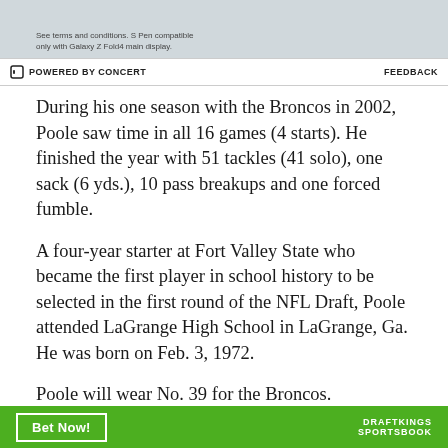[Figure (other): Advertisement banner for Samsung Galaxy Z Fold4 with S Pen. Shows small print text: 'See terms and conditions. S Pen compatible only with Galaxy Z Fold4 main display.' Partial image of device visible on right.]
⊟ POWERED BY CONCERT   FEEDBACK
During his one season with the Broncos in 2002, Poole saw time in all 16 games (4 starts). He finished the year with 51 tackles (41 solo), one sack (6 yds.), 10 pass breakups and one forced fumble.
A four-year starter at Fort Valley State who became the first player in school history to be selected in the first round of the NFL Draft, Poole attended LaGrange High School in LaGrange, Ga. He was born on Feb. 3, 1972.
Poole will wear No. 39 for the Broncos.
[Figure (other): DraftKings Sportsbook advertisement banner in green with 'Bet Now!' button and DraftKings Sportsbook logo on right.]